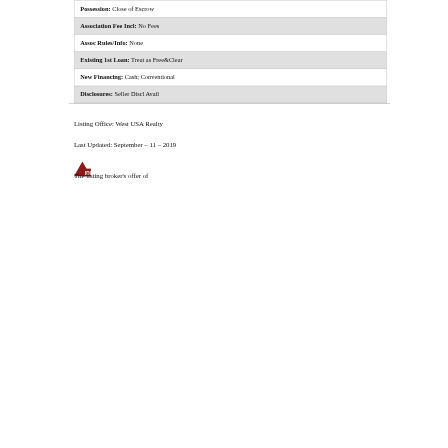| Possession: Close of Escrow |
| Association Fee Incl: No Fees |
| Assoc Rules/Info: None |
| Existing 1st Loan: Treat as Free&Clear |
| New Financing: Cash; Conventional |
| Disclosures: Seller Discl Avail |
Listing Office: West USA Realty
Last Updated: September - 11 - 2019
[Figure (logo): IDX logo - small triangle/house icon with IDX text]
The listing broker's offer of